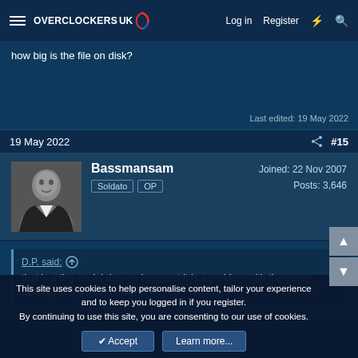Overclockers UK — Log in | Register
how big is the file on disk?
Last edited: 19 May 2022
19 May 2022   #15
Bassmansam
Soldato  OP
Joined: 22 Nov 2007
Posts: 3,646
D.P. said:
that is a tiny exclel doc, so i suspect it is a problem with the query.
how big is the file on disk?
This site uses cookies to help personalise content, tailor your experience and to keep you logged in if you register.
By continuing to use this site, you are consenting to our use of cookies.